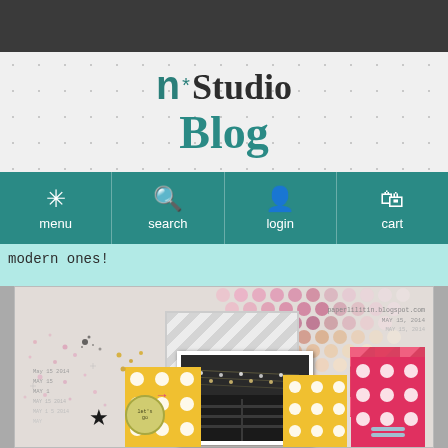[Figure (screenshot): Dark top navigation bar]
n*Studio Blog
[Figure (infographic): Navigation bar with menu, search, login, cart icons on teal background]
modern ones!
[Figure (photo): Scrapbook layout with polka dot patterns, chevron paper, black and white photo, pink and yellow papers, star decoration, and date stamps]